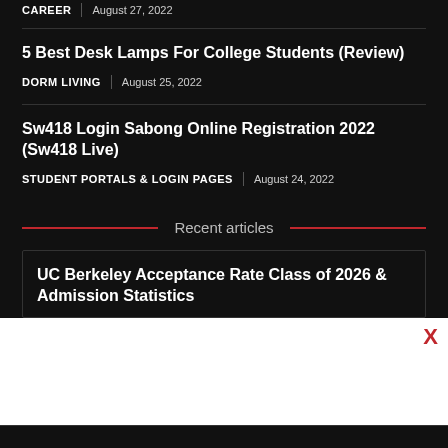CAREER | August 27, 2022
5 Best Desk Lamps For College Students (Review)
DORM LIVING | August 25, 2022
Sw418 Login Sabong Online Registration 2022 (Sw418 Live)
STUDENT PORTALS & LOGIN PAGES | August 24, 2022
Recent articles
UC Berkeley Acceptance Rate Class of 2026 & Admission Statistics